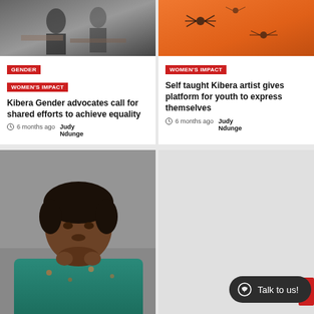[Figure (photo): People in a room, appears to be a meeting or gathering, dark tones]
[Figure (photo): Orange fabric with black spider/insect embroidery or print]
GENDER
WOMEN'S IMPACT
Kibera Gender advocates call for shared efforts to achieve equality
6 months ago  Judy Ndunge
WOMEN'S IMPACT
Self taught Kibera artist gives platform for youth to express themselves
6 months ago  Judy Ndunge
[Figure (photo): Portrait of a woman in teal/blue floral top, sitting with hands clasped, looking at camera]
Talk to us!